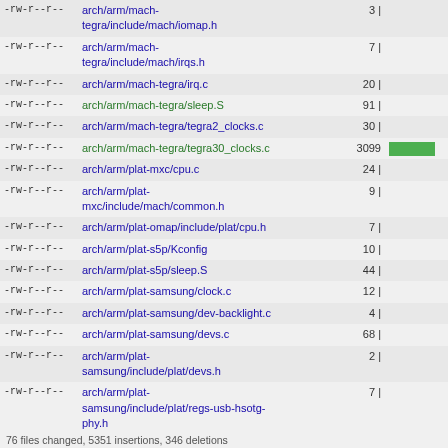| permissions | filepath | count | bar |
| --- | --- | --- | --- |
| -rw-r--r-- | arch/arm/mach-tegra/include/mach/iomap.h | 3 | |  |
| -rw-r--r-- | arch/arm/mach-tegra/include/mach/irqs.h | 7 | |  |
| -rw-r--r-- | arch/arm/mach-tegra/irq.c | 20 | |  |
| -rw-r--r-- | arch/arm/mach-tegra/sleep.S | 91 | |  |
| -rw-r--r-- | arch/arm/mach-tegra/tegra2_clocks.c | 30 | |  |
| -rw-r--r-- | arch/arm/mach-tegra/tegra30_clocks.c | 3099 | bar |
| -rw-r--r-- | arch/arm/plat-mxc/cpu.c | 24 | |  |
| -rw-r--r-- | arch/arm/plat-mxc/include/mach/common.h | 9 | |  |
| -rw-r--r-- | arch/arm/plat-omap/include/plat/cpu.h | 7 | |  |
| -rw-r--r-- | arch/arm/plat-s5p/Kconfig | 10 | |  |
| -rw-r--r-- | arch/arm/plat-s5p/sleep.S | 44 | |  |
| -rw-r--r-- | arch/arm/plat-samsung/clock.c | 12 | |  |
| -rw-r--r-- | arch/arm/plat-samsung/dev-backlight.c | 4 | |  |
| -rw-r--r-- | arch/arm/plat-samsung/devs.c | 68 | |  |
| -rw-r--r-- | arch/arm/plat-samsung/include/plat/devs.h | 2 | |  |
| -rw-r--r-- | arch/arm/plat-samsung/include/plat/regs-usb-hsotg-phy.h | 7 | |  |
| -rw-r--r-- | arch/arm/plat-samsung/include/plat/udc-hs.h | 5 | |  |
76 files changed, 5351 insertions, 346 deletions